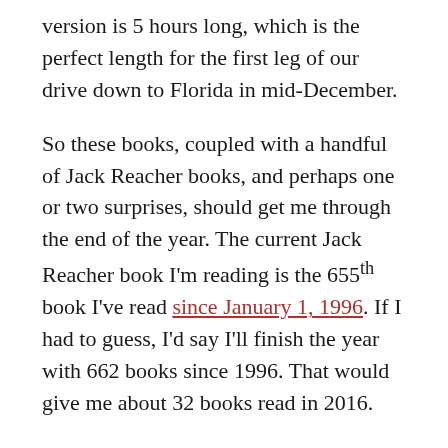version is 5 hours long, which is the perfect length for the first leg of our drive down to Florida in mid-December.
So these books, coupled with a handful of Jack Reacher books, and perhaps one or two surprises, should get me through the end of the year. The current Jack Reacher book I'm reading is the 655th book I've read since January 1, 1996. If I had to guess, I'd say I'll finish the year with 662 books since 1996. That would give me about 32 books read in 2016.
What will you be reading through the end of 2016? Let me know in the comments.
Share this: